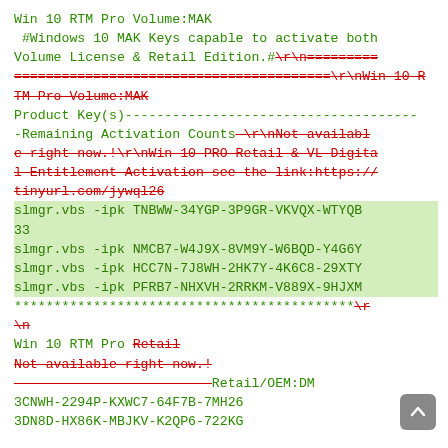Win 10 RTM Pro Volume:MAK
 #Windows 10 MAK Keys capable to activate both Volume License & Retail Edition.#\r\n=========================================\r\nWin 10 RTM Pro Volume:MAK
Product Key(s)------------------------------------- -Remaining Activation Counts—\r\nNot available right now.!\r\nWin 10 PRO Retail & VL Digital Entitlement Activation see the link:https://tinyurl.com/jywql26
slmgr.vbs -ipk TNBWW-34YGP-3P9GR-VKVQX-WTYQB33
slmgr.vbs -ipk NMCB7-W4J9X-8VM9Y-W6BQD-Y4G6Y
slmgr.vbs -ipk HCC7N-7J8WH-2HK7Y-4K6C8-29XTY
slmgr.vbs -ipk PFRB7-NHXVH-2RRKM-V889X-9HJXM
*******************************************\r\n\r\n
Win 10 RTM Pro Retail
Not available right now.!
—————————————————————————Retail/OEM:DM
3CNWH-2294P-KXWC7-64F7B-7MH26
3DN8D-HX86K-MBJKV-K2QP6-722KG